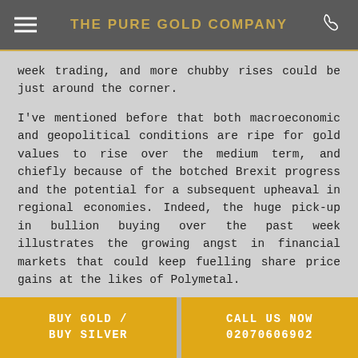THE PURE GOLD COMPANY
week trading, and more chubby rises could be just around the corner.
I've mentioned before that both macroeconomic and geopolitical conditions are ripe for gold values to rise over the medium term, and chiefly because of the botched Brexit progress and the potential for a subsequent upheaval in regional economies. Indeed, the huge pick-up in bullion buying over the past week illustrates the growing angst in financial markets that could keep fuelling share price gains at the likes of Polymetal.
The Pure Gold Company for one has seen sales of its physical bars and coins to first-time investors
BUY GOLD / BUY SILVER | CALL US NOW 02070606902